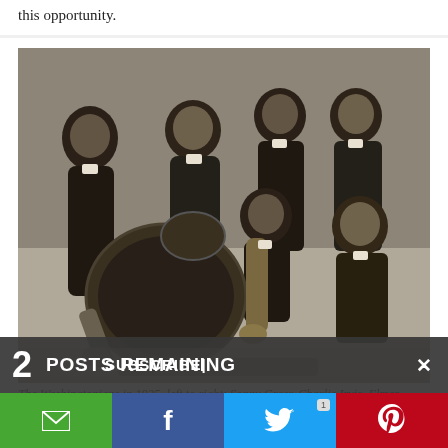this opportunity.
[Figure (photo): Black and white photograph of The Washingtonians jazz band in 1925. Six men in formal tuxedos/suits are posed together with musical instruments including a large bass drum, saxophone, and trumpet visible.]
The Washingtonians in 1925. left to right: Sonny Greer, Charlie Irvis, Elmer Snowden, Otto Harwick, seated, Bubber
2  POSTS REMAINING  ×
SUBSCRIBE|